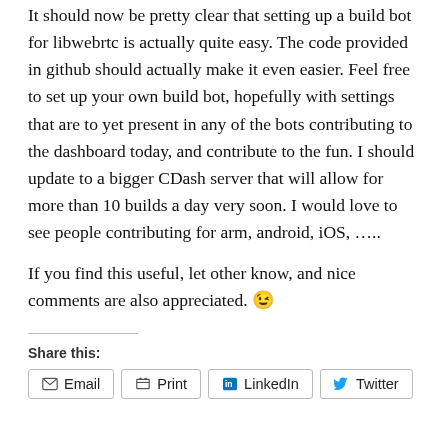It should now be pretty clear that setting up a build bot for libwebrtc is actually quite easy. The code provided in github should actually make it even easier. Feel free to set up your own build bot, hopefully with settings that are to yet present in any of the bots contributing to the dashboard today, and contribute to the fun. I should update to a bigger CDash server that will allow for more than 10 builds a day very soon. I would love to see people contributing for arm, android, iOS, …..
If you find this useful, let other know, and nice comments are also appreciated. 😉
Share this:
Email  Print  LinkedIn  Twitter